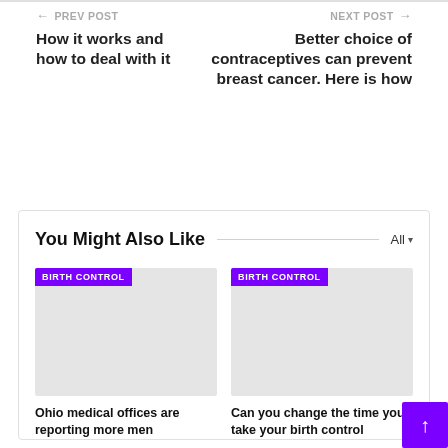← PREV POST
NEXT POST →
How it works and how to deal with it
Better choice of contraceptives can prevent breast cancer. Here is how
You Might Also Like
All
BIRTH CONTROL
Ohio medical offices are reporting more men
BIRTH CONTROL
Can you change the time you take your birth control